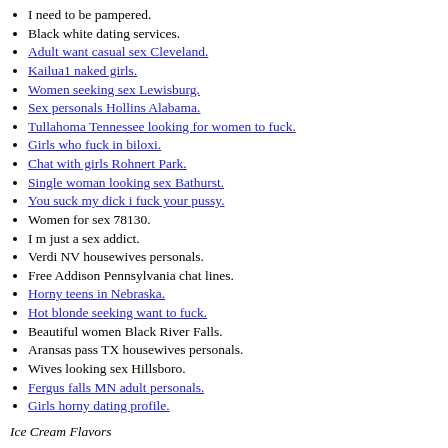I need to be pampered.
Black white dating services.
Adult want casual sex Cleveland.
Kailua1 naked girls.
Women seeking sex Lewisburg.
Sex personals Hollins Alabama.
Tullahoma Tennessee looking for women to fuck.
Girls who fuck in biloxi.
Chat with girls Rohnert Park.
Single woman looking sex Bathurst.
You suck my dick i fuck your pussy.
Women for sex 78130.
I m just a sex addict.
Verdi NV housewives personals.
Free Addison Pennsylvania chat lines.
Horny teens in Nebraska.
Hot blonde seeking want to fuck.
Beautiful women Black River Falls.
Aransas pass TX housewives personals.
Wives looking sex Hillsboro.
Fergus falls MN adult personals.
Girls horny dating profile.
Ice Cream Flavors